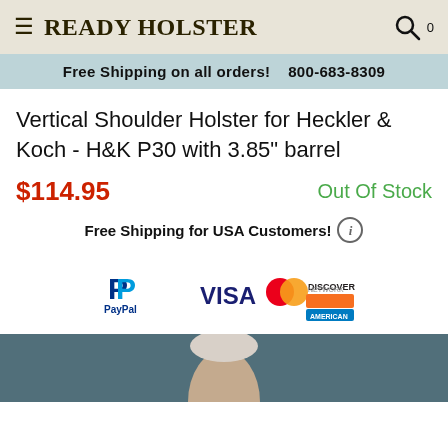≡ Ready Holster  🔍  0
Free Shipping on all orders!    800-683-8309
Vertical Shoulder Holster for Heckler & Koch - H&K P30 with 3.85" barrel
$114.95    Out Of Stock
Free Shipping for USA Customers! ⓘ
[Figure (logo): PayPal logo and credit card logos: Visa, Mastercard, Discover, American Express]
[Figure (photo): Bottom portion showing a person wearing the shoulder holster, partial head visible against dark teal background]